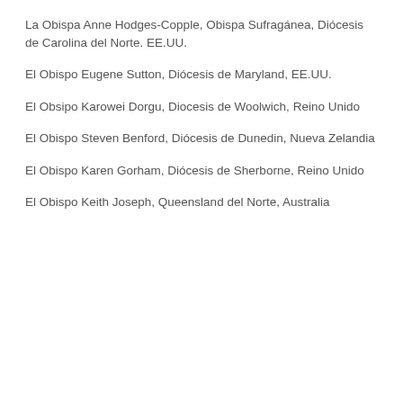La Obispa Anne Hodges-Copple, Obispa Sufragánea, Diócesis de Carolina del Norte. EE.UU.
El Obispo Eugene Sutton, Diócesis de Maryland, EE.UU.
El Obsipo Karowei Dorgu, Diocesis de Woolwich, Reino Unido
El Obispo Steven Benford, Diócesis de Dunedin, Nueva Zelandia
El Obispo Karen Gorham, Diócesis de Sherborne, Reino Unido
El Obispo Keith Joseph, Queensland del Norte, Australia